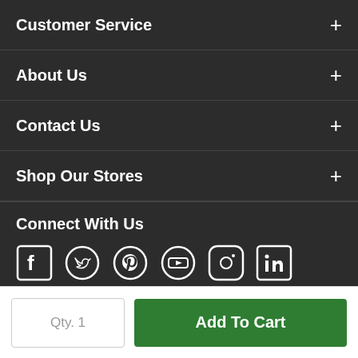Customer Service
About Us
Contact Us
Shop Our Stores
Connect With Us
[Figure (infographic): Social media icons: Facebook, Twitter, Pinterest, YouTube, Instagram, LinkedIn]
Qty. 1
Add To Cart